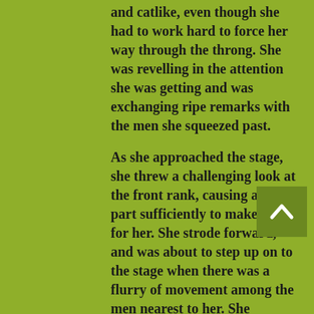and catlike, even though she had to work hard to force her way through the throng. She was revelling in the attention she was getting and was exchanging ripe remarks with the men she squeezed past.
As she approached the stage, she threw a challenging look at the front rank, causing a few to part sufficiently to make room for her. She strode forward, and was about to step up on to the stage when there was a flurry of movement among the men nearest to her. She wheeled around.
'He put his hand on my bottom!'
She searched the faces of the men in front of her. The curious primness of